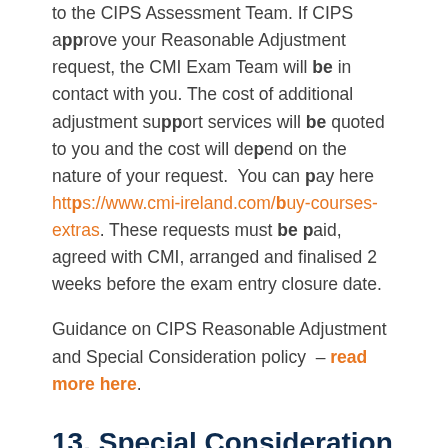to the CIPS Assessment Team. If CIPS approve your Reasonable Adjustment request, the CMI Exam Team will be in contact with you. The cost of additional adjustment support services will be quoted to you and the cost will depend on the nature of your request.  You can pay here https://www.cmi-ireland.com/buy-courses-extras. These requests must be paid, agreed with CMI, arranged and finalised 2 weeks before the exam entry closure date.
Guidance on CIPS Reasonable Adjustment and Special Consideration policy – read more here.
13. Special Consideration